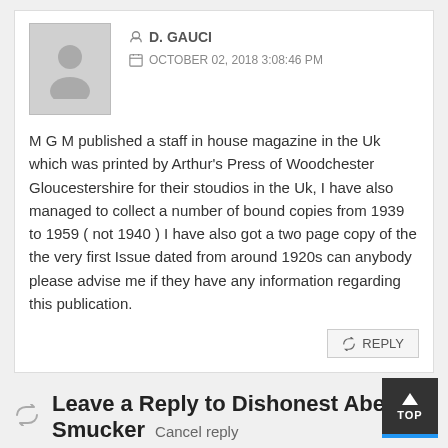D. GAUCI
OCTOBER 02, 2018 3:08:46 PM
M G M published a staff in house magazine in the Uk which was printed by Arthur's Press of Woodchester Gloucestershire for their stoudios in the Uk, I have also managed to collect a number of bound copies from 1939 to 1959 ( not 1940 ) I have also got a two page copy of the the very first Issue dated from around 1920s can anybody please advise me if they have any information regarding this publication.
REPLY
Leave a Reply to Dishonest Abe Smucker Cancel reply
Your email address will not be published. Required fields are marked *